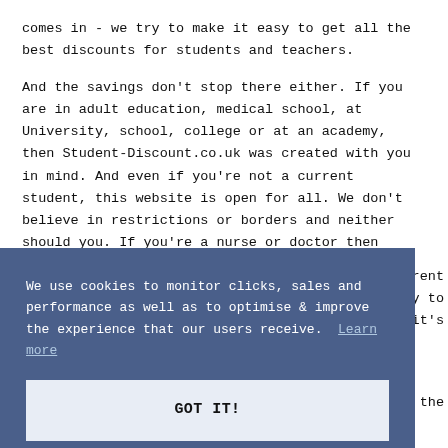comes in - we try to make it easy to get all the best discounts for students and teachers.
And the savings don't stop there either. If you are in adult education, medical school, at University, school, college or at an academy, then Student-Discount.co.uk was created with you in mind. And even if you're not a current student, this website is open for all. We don't believe in restrictions or borders and neither should you. If you're a nurse or doctor then check out this website called NHS Discounts for
We use cookies to monitor clicks, sales and performance as well as to optimise & improve the experience that our users receive. Learn more
GOT IT!
Offers if you're in adult education such as night-school: